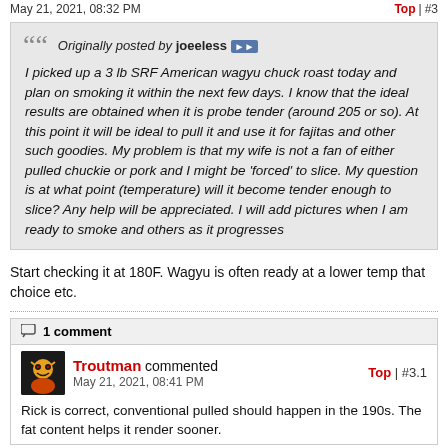May 21, 2021, 08:32 PM | Top | #3
Originally posted by joeeless
I picked up a 3 lb SRF American wagyu chuck roast today and plan on smoking it within the next few days. I know that the ideal results are obtained when it is probe tender (around 205 or so). At this point it will be ideal to pull it and use it for fajitas and other such goodies. My problem is that my wife is not a fan of either pulled chuckie or pork and I might be 'forced' to slice. My question is at what point (temperature) will it become tender enough to slice? Any help will be appreciated. I will add pictures when I am ready to smoke and others as it progresses
Start checking it at 180F. Wagyu is often ready at a lower temp that choice etc.
1 comment
Troutman commented
May 21, 2021, 08:41 PM
Top | #3.1
Rick is correct, conventional pulled should happen in the 190s. The fat content helps it render sooner.